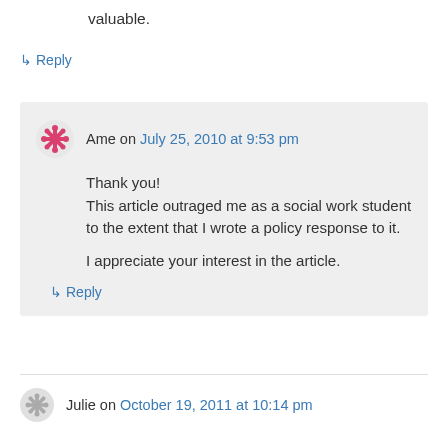valuable.
↳ Reply
Ame on July 25, 2010 at 9:53 pm
Thank you!
This article outraged me as a social work student to the extent that I wrote a policy response to it.

I appreciate your interest in the article.
↳ Reply
Julie on October 19, 2011 at 10:14 pm